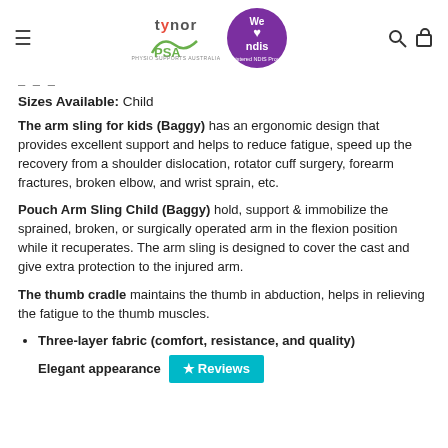Tynor PSA / We ♥ ndis — Registered NDIS Provider
Sizes Available: Child
The arm sling for kids (Baggy) has an ergonomic design that provides excellent support and helps to reduce fatigue, speed up the recovery from a shoulder dislocation, rotator cuff surgery, forearm fractures, broken elbow, and wrist sprain, etc.
Pouch Arm Sling Child (Baggy) hold, support & immobilize the sprained, broken, or surgically operated arm in the flexion position while it recuperates. The arm sling is designed to cover the cast and give extra protection to the injured arm.
The thumb cradle maintains the thumb in abduction, helps in relieving the fatigue to the thumb muscles.
Three-layer fabric (comfort, resistance, and quality)
Elegant appearance